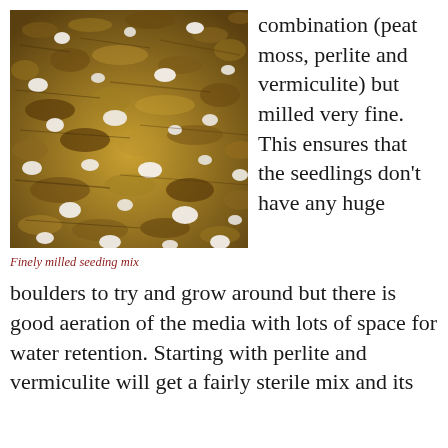[Figure (photo): Close-up photograph of finely milled seeding mix showing golden-brown soil particles mixed with white perlite chunks against a textured surface.]
Finely milled seeding mix
combination (peat moss, perlite and vermiculite) but milled very fine. This ensures that the seedlings don't have any huge boulders to try and grow around but there is good aeration of the media with lots of space for water retention. Starting with perlite and vermiculite will get a fairly sterile mix and its